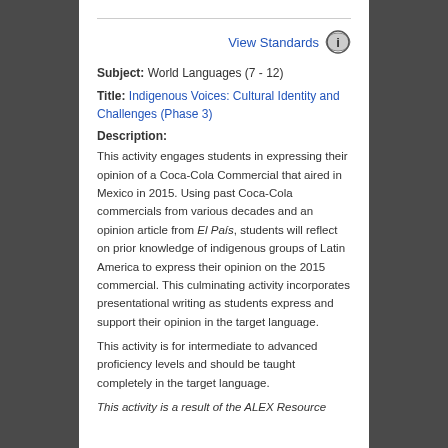View Standards
Subject: World Languages (7 - 12)
Title: Indigenous Voices: Cultural Identity and Challenges (Phase 3)
Description:
This activity engages students in expressing their opinion of a Coca-Cola Commercial that aired in Mexico in 2015. Using past Coca-Cola commercials from various decades and an opinion article from El País, students will reflect on prior knowledge of indigenous groups of Latin America to express their opinion on the 2015 commercial. This culminating activity incorporates presentational writing as students express and support their opinion in the target language.
This activity is for intermediate to advanced proficiency levels and should be taught completely in the target language.
This activity is a result of the ALEX Resource